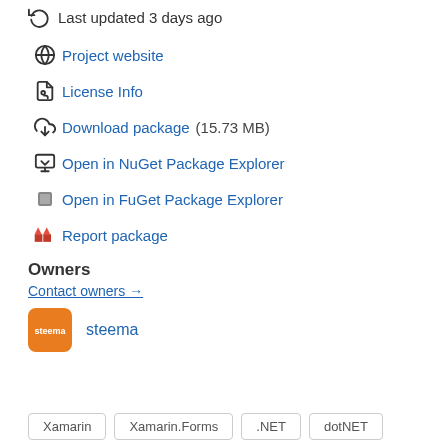Last updated 3 days ago
Project website
License Info
Download package  (15.73 MB)
Open in NuGet Package Explorer
Open in FuGet Package Explorer
Report package
Owners
Contact owners →
steema
Xamarin  Xamarin.Forms  .NET  dotNET